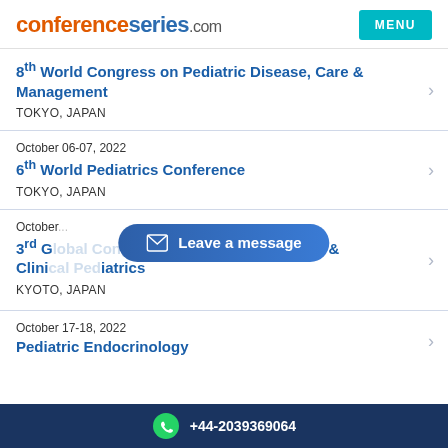conferenceseries.com
8th World Congress on Pediatric Disease, Care & Management
TOKYO, JAPAN
October 06-07, 2022
6th World Pediatrics Conference
TOKYO, JAPAN
October [date], 2022
3rd Global Congress on Pediatric Oncology & Clinical Pediatrics
KYOTO, JAPAN
October 17-18, 2022
Pediatric Endocrinology
+44-2039369064